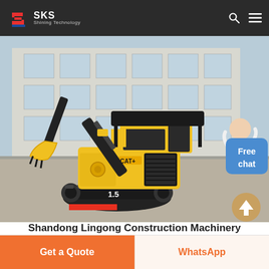SKS Shining Technology
[Figure (photo): A yellow and black mini excavator with model number 1.5, photographed outdoors in front of a large industrial building. The excavator has a black cab canopy, yellow body, black tracked undercarriage, and a hydraulic arm with bucket attachment. A 'Free chat' badge and scroll-up button overlay the image.]
Shandong Lingong Construction Machinery
Get a Quote
WhatsApp